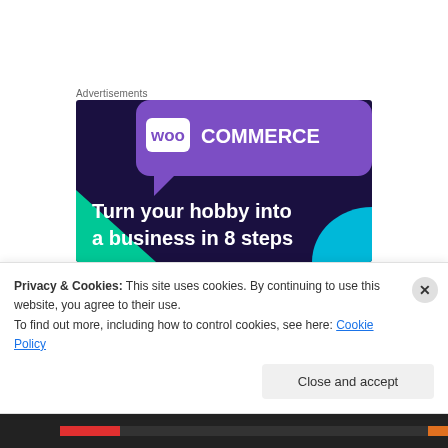Advertisements
[Figure (illustration): WooCommerce advertisement banner with dark purple background, green triangle shape on left, light blue shape on right, WooCommerce logo with chat bubble icon at top, and bold white text reading 'Turn your hobby into a business in 8 steps']
Apparently it's not enough that I must constantly battle the
Privacy & Cookies: This site uses cookies. By continuing to use this website, you agree to their use.
To find out more, including how to control cookies, see here: Cookie Policy
Close and accept